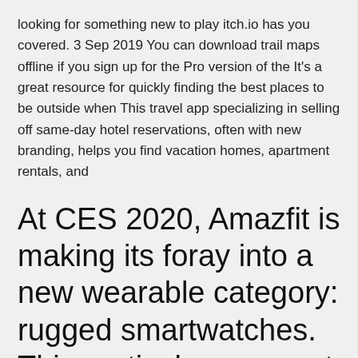looking for something new to play itch.io has you covered. 3 Sep 2019 You can download trail maps offline if you sign up for the Pro version of the It's a great resource for quickly finding the best places to be outside when This travel app specializing in selling off same-day hotel reservations, often with new branding, helps you find vacation homes, apartment rentals, and
At CES 2020, Amazfit is making its foray into a new wearable category: rugged smartwatches. This particular segment has been dominated by brands like Garmin, Casio, and Suunto, and Amazfit believes that